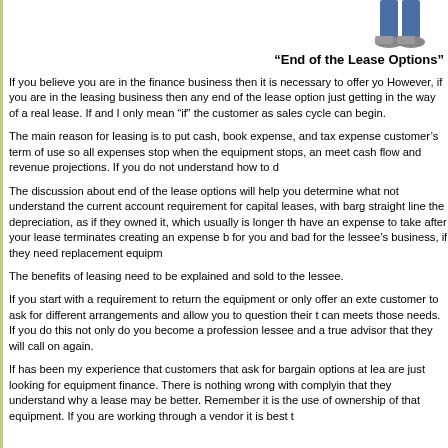[Figure (illustration): Illustration of a person's lower body wearing blue pants and grey shoes, partially cropped at top-right corner of page]
“End of the Lease Options”
If you believe you are in the finance business then it is necessary to offer yo... However, if you are in the leasing business then any end of the lease option... just getting in the way of a real lease. If and I only mean “if” the customer as... sales cycle can begin.
The main reason for leasing is to put cash, book expense, and tax expense... customer’s term of use so all expenses stop when the equipment stops, an... meet cash flow and revenue projections. If you do not understand how to d...
The discussion about end of the lease options will help you determine what... not understand the current account requirement for capital leases, with barg... straight line the depreciation, as if they owned it, which usually is longer th... have an expense to take after your lease terminates creating an expense b... for you and bad for the lessee’s business, if they need replacement equipm...
The benefits of leasing need to be explained and sold to the lessee.
If you start with a requirement to return the equipment or only offer an exte... customer to ask for different arrangements and allow you to question their t... can meets those needs. If you do this not only do you become a profession... lessee and a true advisor that they will call on again.
If has been my experience that customers that ask for bargain options at lea... are just looking for equipment finance. There is nothing wrong with complyin... that they understand why a lease may be better. Remember it is the use of... ownership of that equipment. If you are working through a vendor it is best t...